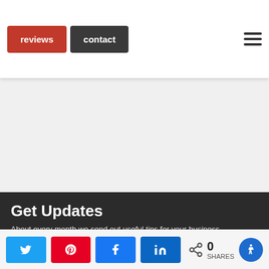reviews | contact
Trey, I'd like someone to design a logo and... Are you a graphic designer? Do you have packages? I will also need a truck wrap and website. I met you at the James Bay concert. Debra
Comments are closed.
Get Updates
About every month we send out useful tips for your business.
0 SHARES